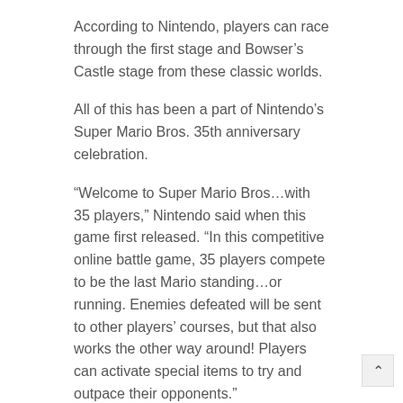According to Nintendo, players can race through the first stage and Bowser's Castle stage from these classic worlds.
All of this has been a part of Nintendo's Super Mario Bros. 35th anniversary celebration.
“Welcome to Super Mario Bros…with 35 players,” Nintendo said when this game first released. “In this competitive online battle game, 35 players compete to be the last Mario standing…or running. Enemies defeated will be sent to other players’ courses, but that also works the other way around! Players can activate special items to try and outpace their opponents.”
Super Mario Bros. 35 launched on October 1, but will only be playable until March 31, 2021.
This limited release window seems to be something that Nintendo is experimenting with, and it has not proven to be popular with fans.